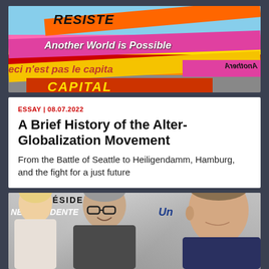[Figure (photo): Protest banners with text 'RESIST', 'Another World is Possible', 'ceci n'est pas le capita', 'CAPITAL' on colorful ribbons/banners]
ESSAY | 08.07.2022
A Brief History of the Alter-Globalization Movement
From the Battle of Seattle to Heiligendamm, Hamburg, and the fight for a just future
[Figure (photo): Photo of three political figures - a woman on the left holding a 'NE PRÉSIDENTE' magazine, a man center with glasses and grey hair, and Emmanuel Macron on the right]